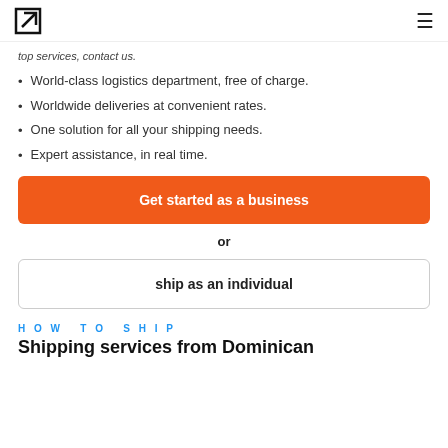[logo icon] [hamburger menu]
top services, contact us.
World-class logistics department, free of charge.
Worldwide deliveries at convenient rates.
One solution for all your shipping needs.
Expert assistance, in real time.
Get started as a business
or
ship as an individual
HOW TO SHIP
Shipping services from Dominican